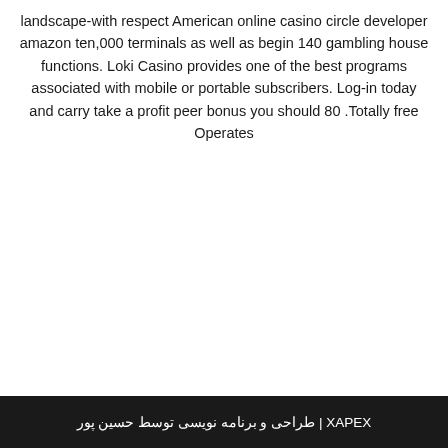landscape-with respect American online casino circle developer amazon ten,000 terminals as well as begin 140 gambling house functions. Loki Casino provides one of the best programs associated with mobile or portable subscribers. Log-in today and carry take a profit peer bonus you should 80 Totally free Operates.
XAPEX | طراحی و برنامه نویسی توسط حسین پور